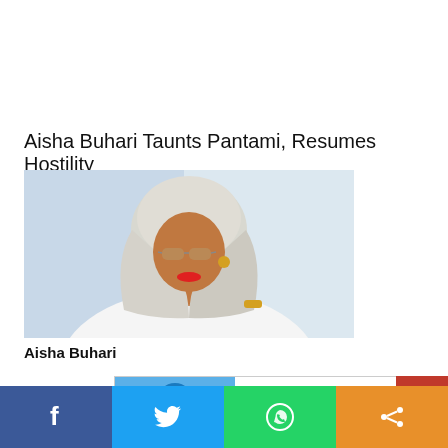Aisha Buhari Taunts Pantami, Resumes Hostility
[Figure (photo): Photo of Aisha Buhari wearing a silver/white hijab and headpiece, gold bracelet, gold earring, red lipstick, and tinted glasses]
Aisha Buhari
[Figure (other): Intech Ads Network advertisement banner with blue logo section and red button]
Facebook | Twitter | WhatsApp | Share — social sharing bar